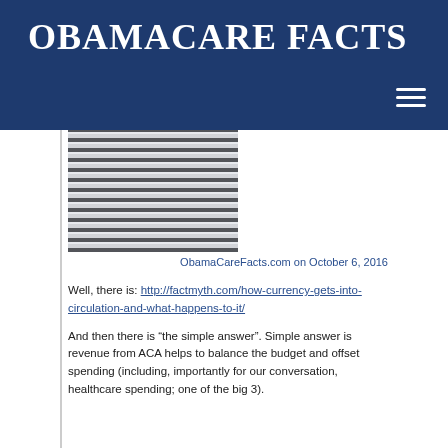OBAMACARE FACTS
[Figure (photo): Partial photo of a child or person in a striped shirt, cropped at the top edge of the content area]
ObamaCareFacts.com on October 6, 2016
Well, there is: http://factmyth.com/how-currency-gets-into-circulation-and-what-happens-to-it/
And then there is “the simple answer”. Simple answer is revenue from ACA helps to balance the budget and offset spending (including, importantly for our conversation, healthcare spending; one of the big 3).